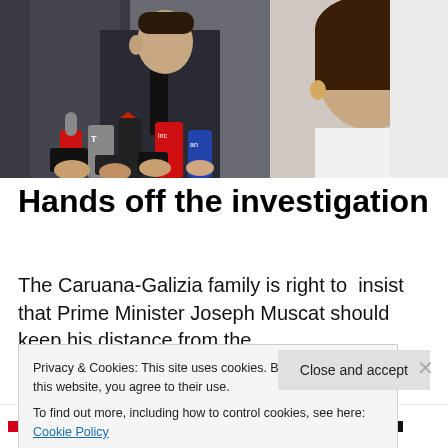[Figure (photo): Press conference scene with journalists holding microphones and phones toward a man in a suit, with a woman on the right side of the frame.]
Hands off the investigation
The Caruana-Galizia family is right to  insist that Prime Minister Joseph Muscat should keep his distance from the criminal investigation into the assassination of Daphne...
Privacy & Cookies: This site uses cookies. By continuing to use this website, you agree to their use.
To find out more, including how to control cookies, see here: Cookie Policy
Close and accept